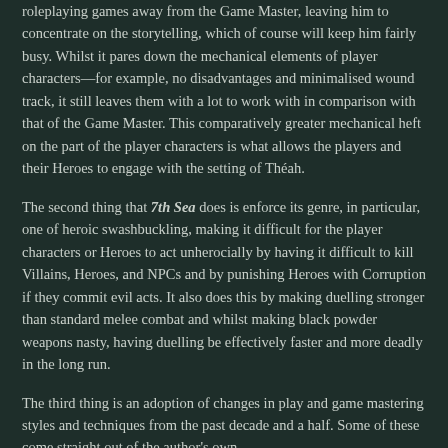roleplaying games away from the Game Master, leaving him to concentrate on the storytelling, which of course will keep him fairly busy. Whilst it pares down the mechanical elements of player characters—for example, no disadvantages and minimalised wound track, it still leaves them with a lot to work with in comparison with that of the Game Master. This comparatively greater mechanical heft on the part of the player characters is what allows the players and their Heroes to engage with the setting of Théah.
The second thing that 7th Sea does is enforce its genre, in particular, one of heroic swashbuckling, making it difficult for the player characters or Heroes to act unherocially by having it difficult to kill Villains, Heroes, and NPCs and by punishing Heroes with Corruption if they commit evil acts. It also does this by making duelling stronger than standard melee combat and whilst making black powder weapons nasty, having duelling be effectively faster and more deadly in the long run.
The third thing is an adoption of changes in play and game mastering styles and techniques from the past decade and a half. Some of these come straight out of the author's own